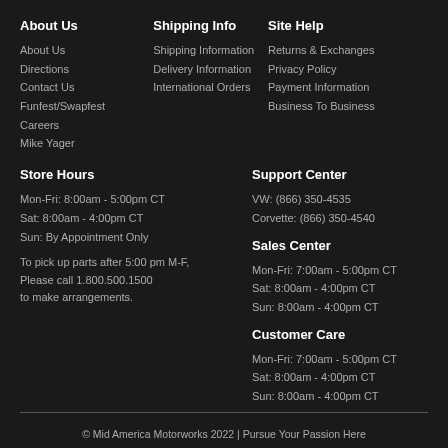About Us
About Us
Directions
Contact Us
Funfest/Swapfest
Careers
Mike Yager
Shipping Info
Shipping Information
Delivery Information
International Orders
Site Help
Returns & Exchanges
Privacy Policy
Payment Information
Business To Business
Store Hours
Mon-Fri: 8:00am - 5:00pm CT
Sat: 8:00am - 4:00pm CT
Sun: By Appointment Only
To pick up parts after 5:00 pm M-F, Please call 1.800.500.1500 to make arrangements.
Support Center
VW: (866) 350-4535
Corvette: (866) 350-4540
Sales Center
Mon-Fri: 7:00am - 5:00pm CT
Sat: 8:00am - 4:00pm CT
Sun: 8:00am - 4:00pm CT
Customer Care
Mon-Fri: 7:00am - 5:00pm CT
Sat: 8:00am - 4:00pm CT
Sun: 8:00am - 4:00pm CT
© Mid America Motorworks 2022 | Pursue Your Passion Here